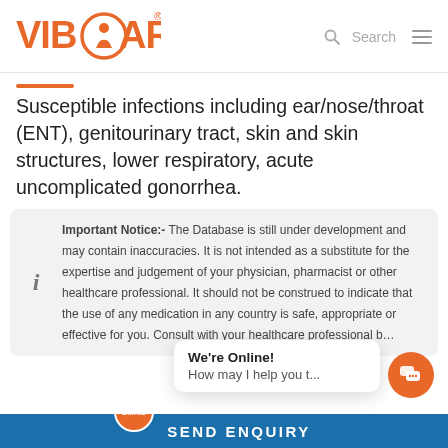[Figure (logo): VibCare logo with orange circle and text, registered trademark symbol]
Susceptible infections including ear/nose/throat (ENT), genitourinary tract, skin and skin structures, lower respiratory, acute uncomplicated gonorrhea.
Important Notice:- The Database is still under development and may contain inaccuracies. It is not intended as a substitute for the expertise and judgement of your physician, pharmacist or other healthcare professional. It should not be construed to indicate that the use of any medication in any country is safe, appropriate or effective for you. Consult with your healthcare professional b...
We're Online! How may I help you t...